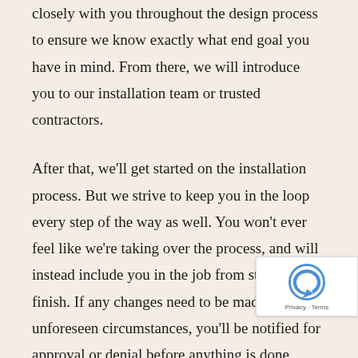closely with you throughout the design process to ensure we know exactly what end goal you have in mind. From there, we will introduce you to our installation team or trusted contractors.
After that, we'll get started on the installation process. But we strive to keep you in the loop every step of the way as well. You won't ever feel like we're taking over the process, and will instead include you in the job from start to finish. If any changes need to be made due to unforeseen circumstances, you'll be notified for approval or denial before anything is done without your knowledge.
Our services include a wide range of standard and